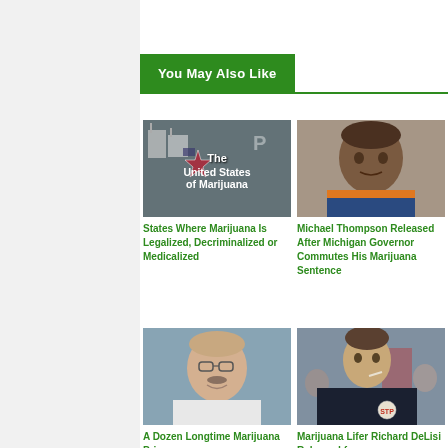You May Also Like
[Figure (photo): Book or poster showing 'The United States of Marijuana' with patriotic imagery and protest signs]
States Where Marijuana Is Legalized, Decriminalized or Medicalized
[Figure (photo): Portrait photo of Michael Thompson, a Black man wearing an orange-collar blue uniform]
Michael Thompson Released After Michigan Governor Commutes His Marijuana Sentence
[Figure (photo): Photo of an older white man with glasses and a mustache, smiling]
A Dozen Longtime Marijuana Prisoners
[Figure (photo): Photo of a man in a dark jacket with an STP logo patch, with people in background]
Marijuana Lifer Richard DeLisi Released from